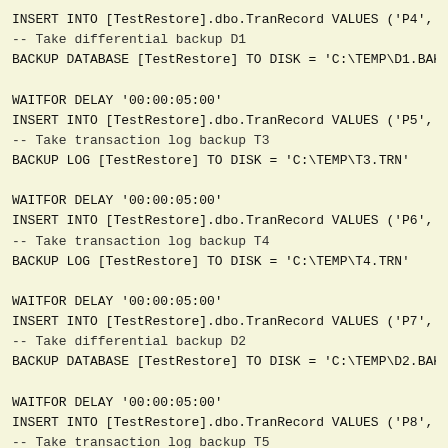INSERT INTO [TestRestore].dbo.TranRecord VALUES ('P4', 'D...
-- Take differential backup D1
BACKUP DATABASE [TestRestore] TO DISK = 'C:\TEMP\D1.BAK' ...

WAITFOR DELAY '00:00:05:00'
INSERT INTO [TestRestore].dbo.TranRecord VALUES ('P5', 'T...
-- Take transaction log backup T3
BACKUP LOG [TestRestore] TO DISK = 'C:\TEMP\T3.TRN'

WAITFOR DELAY '00:00:05:00'
INSERT INTO [TestRestore].dbo.TranRecord VALUES ('P6', 'T...
-- Take transaction log backup T4
BACKUP LOG [TestRestore] TO DISK = 'C:\TEMP\T4.TRN'

WAITFOR DELAY '00:00:05:00'
INSERT INTO [TestRestore].dbo.TranRecord VALUES ('P7', 'D...
-- Take differential backup D2
BACKUP DATABASE [TestRestore] TO DISK = 'C:\TEMP\D2.BAK' ...

WAITFOR DELAY '00:00:05:00'
INSERT INTO [TestRestore].dbo.TranRecord VALUES ('P8', 'T...
-- Take transaction log backup T5
BACKUP LOG [TestRestore] TO DISK = 'C:\TEMP\T5.TRN'

WAITFOR DELAY '00:00:05:00'